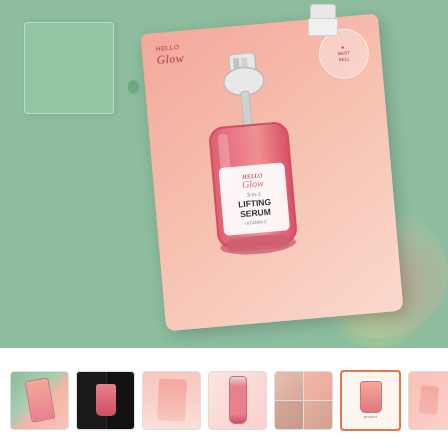[Figure (photo): Product photo of Hello Glow 3-in-1 Lifting Serum packet on a sage green background. The pink packet shows an illustrated serum bottle with dropper. A glass tile and green droplet are visible on the surface.]
[Figure (photo): Thumbnail strip showing 7 product images: serum packet photo, black background image, pink gradient, serum bottle close-up, beauty collage, product info card (active/selected), and partial pink background image.]